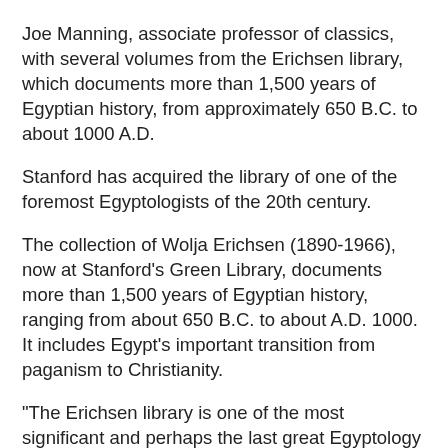Joe Manning, associate professor of classics, with several volumes from the Erichsen library, which documents more than 1,500 years of Egyptian history, from approximately 650 B.C. to about 1000 A.D.
Stanford has acquired the library of one of the foremost Egyptologists of the 20th century.
The collection of Wolja Erichsen (1890-1966), now at Stanford's Green Library, documents more than 1,500 years of Egyptian history, ranging from about 650 B.C. to about A.D. 1000. It includes Egypt's important transition from paganism to Christianity.
"The Erichsen library is one of the most significant and perhaps the last great Egyptology library in private hands," said Joe Manning, associate professor of classics. "It is difficult to overestimate the importance of acquiring this collection. Stanford's acquisition adds great